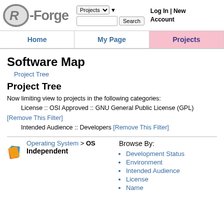[Figure (logo): R-Forge logo with R in circle and Forge text]
Projects (dropdown) | Search input | Log In | New Account
Home | My Page | Projects (active)
Software Map
Project Tree
Project Tree
Now limiting view to projects in the following categories:
    License :: OSI Approved :: GNU General Public License (GPL)
[Remove This Filter]
    Intended Audience :: Developers [Remove This Filter]
Operating System > OS Independent
Browse By:
Development Status
Environment
Intended Audience
License
Name